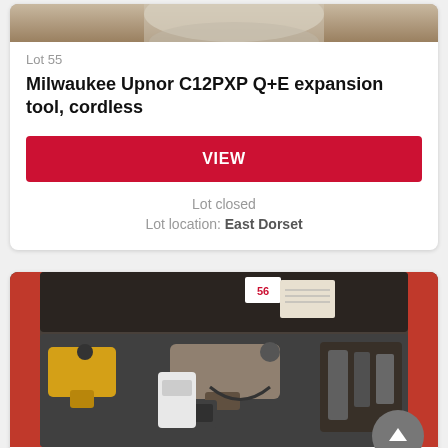[Figure (photo): Top strip of a product photo (partially cropped at top of page), showing a power tool on a surface]
Lot 55
Milwaukee Upnor C12PXP Q+E expansion tool, cordless
VIEW
Lot closed
Lot location: East Dorset
[Figure (photo): Photo of an open tool case (Lot 56) containing a Panasonic cordless drill, accessories, charger, and other power tools on a red surface]
Lot 56